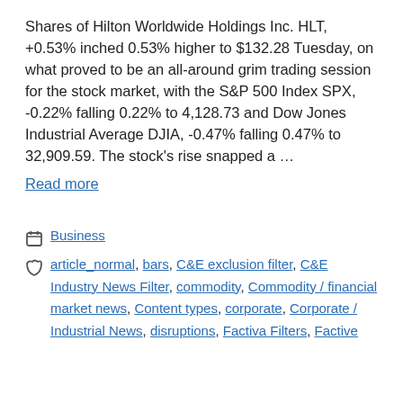Shares of Hilton Worldwide Holdings Inc. HLT, +0.53% inched 0.53% higher to $132.28 Tuesday, on what proved to be an all-around grim trading session for the stock market, with the S&P 500 Index SPX, -0.22% falling 0.22% to 4,128.73 and Dow Jones Industrial Average DJIA, -0.47% falling 0.47% to 32,909.59. The stock's rise snapped a …
Read more
Business
article_normal, bars, C&E exclusion filter, C&E Industry News Filter, commodity, Commodity / financial market news, Content types, corporate, Corporate / Industrial News, disruptions, Factiva Filters, Factive